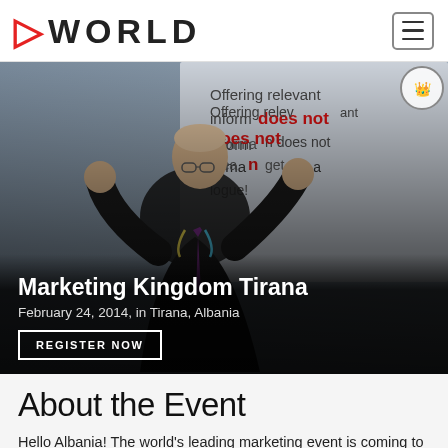P WORLD
[Figure (photo): A speaker at a conference gesturing with hands raised, a presentation slide visible in the background reading 'Offering relevant information does not mean get a dialogue!']
Marketing Kingdom Tirana
February 24, 2014, in Tirana, Albania
REGISTER NOW
About the Event
Hello Albania! The world's leading marketing event is coming to Tirana for the first time to help you master the latest trends in marketing and social media. Get